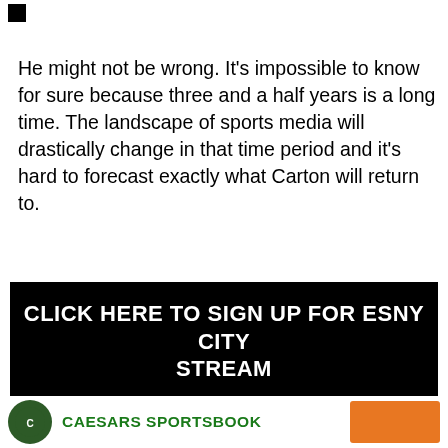[Figure (other): Small black square icon in top-left corner]
He might not be wrong. It's impossible to know for sure because three and a half years is a long time. The landscape of sports media will drastically change in that time period and it's hard to forecast exactly what Carton will return to.
CLICK HERE TO SIGN UP FOR ESNY CITY STREAM
Despite the uncertainty of the future, Carton definitely makes for compelling radio. Even his interview on Monday was captivating and it's clear that he can dominate the airwaves.
[Figure (logo): Caesars Sportsbook logo with green circular emblem, green text reading CAESARS SPORTSBOOK, and an orange button]